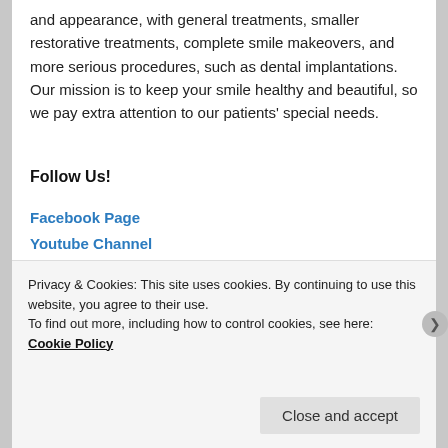and appearance, with general treatments, smaller restorative treatments, complete smile makeovers, and more serious procedures, such as dental implantations. Our mission is to keep your smile healthy and beautiful, so we pay extra attention to our patients' special needs.
Follow Us!
Facebook Page
Youtube Channel
Blogger
WordPress
Gravatar
Tumblr
Twitter
Privacy & Cookies: This site uses cookies. By continuing to use this website, you agree to their use.
To find out more, including how to control cookies, see here: Cookie Policy
Close and accept